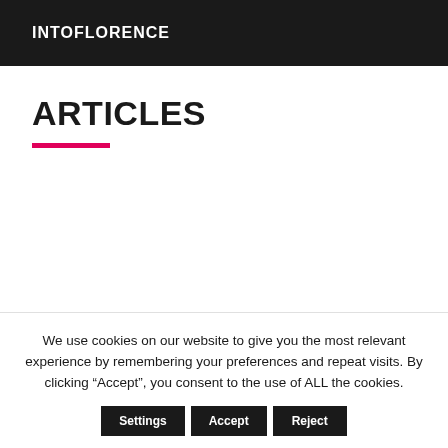INTOFLORENCE
ARTICLES
We use cookies on our website to give you the most relevant experience by remembering your preferences and repeat visits. By clicking “Accept”, you consent to the use of ALL the cookies.